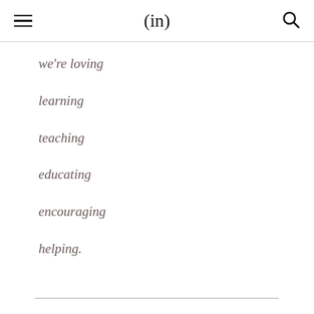(in)
we're loving
learning
teaching
educating
encouraging
helping.